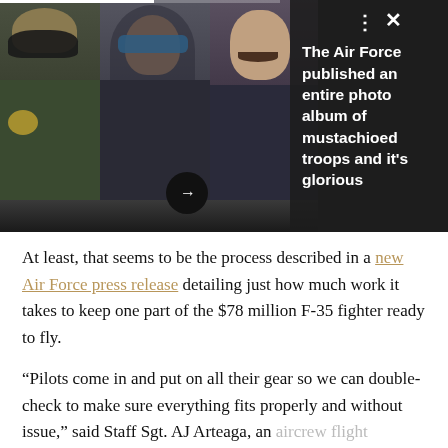[Figure (photo): Photo collage of three mustachioed military airmen/troops standing in military gear, with a dark overlay panel on the right showing headline text about an Air Force photo album. A progress bar is visible at the top, and navigation controls (dots, X close button, right arrow) are on the photo.]
The Air Force published an entire photo album of mustachioed troops and it's glorious
At least, that seems to be the process described in a new Air Force press release detailing just how much work it takes to keep one part of the $78 million F-35 fighter ready to fly.
“Pilots come in and put on all their gear so we can double-check to make sure everything fits properly and without issue,” said Staff Sgt. AJ Arteaga, an aircrew flight equipment reservist with the 419th Operations Support Squadron at Hill Air Force Ba...